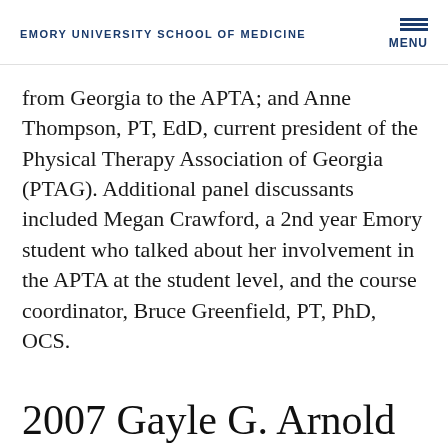EMORY UNIVERSITY SCHOOL OF MEDICINE
from Georgia to the APTA; and Anne Thompson, PT, EdD, current president of the Physical Therapy Association of Georgia (PTAG). Additional panel discussants included Megan Crawford, a 2nd year Emory student who talked about her involvement in the APTA at the student level, and the course coordinator, Bruce Greenfield, PT, PhD, OCS.
2007 Gayle G. Arnold Award